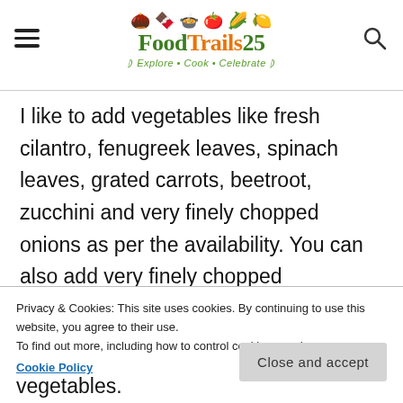FoodTrails25 — Explore • Cook • Celebrate
I like to add vegetables like fresh cilantro, fenugreek leaves, spinach leaves, grated carrots, beetroot, zucchini and very finely chopped onions as per the availability. You can also add very finely chopped vegetables.
Privacy & Cookies: This site uses cookies. By continuing to use this website, you agree to their use. To find out more, including how to control cookies, see here: Cookie Policy
Close and accept